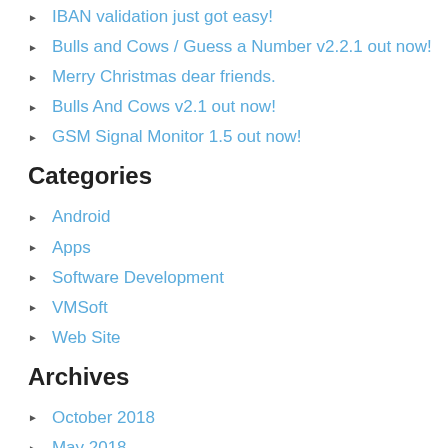IBAN validation just got easy!
Bulls and Cows / Guess a Number v2.2.1 out now!
Merry Christmas dear friends.
Bulls And Cows v2.1 out now!
GSM Signal Monitor 1.5 out now!
Categories
Android
Apps
Software Development
VMSoft
Web Site
Archives
October 2018
May 2018
December 2017
April 2017
October 2016
September 2016